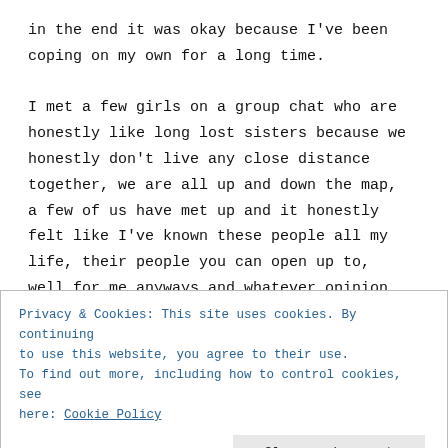in the end it was okay because I've been coping on my own for a long time.

I met a few girls on a group chat who are honestly like long lost sisters because we honestly don't live any close distance together, we are all up and down the map, a few of us have met up and it honestly felt like I've known these people all my life, their people you can open up to, well for me anyways and whatever opinion
Privacy & Cookies: This site uses cookies. By continuing to use this website, you agree to their use.
To find out more, including how to control cookies, see here: Cookie Policy

Close and accept
but now it's one end of one year looking